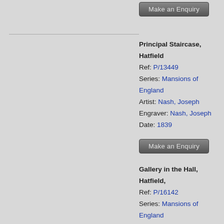[Figure (other): Make an Enquiry button at top]
Principal Staircase, Hatfield
Ref: P/13449
Series: Mansions of England
Artist: Nash, Joseph
Engraver: Nash, Joseph
Date: 1839
[Figure (other): Make an Enquiry button below first record]
Gallery in the Hall, Hatfield,
Ref: P/16142
Series: Mansions of England
Artist: Nash, Joseph
Engraver: Nash, Joseph
Date: 1840
[Figure (other): Make an Enquiry button below second record]